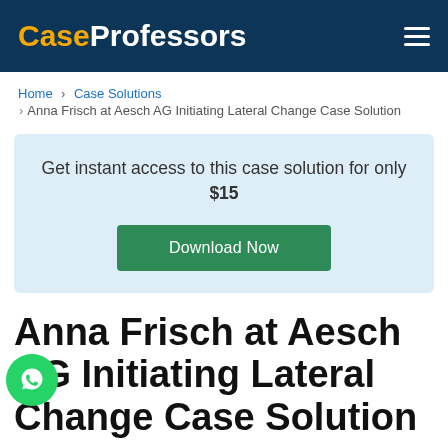CaseProfessors
Home › Case Solutions › Anna Frisch at Aesch AG Initiating Lateral Change Case Solution
Get instant access to this case solution for only $15 — Download Now
Anna Frisch at Aesch AG Initiating Lateral Change Case Solution